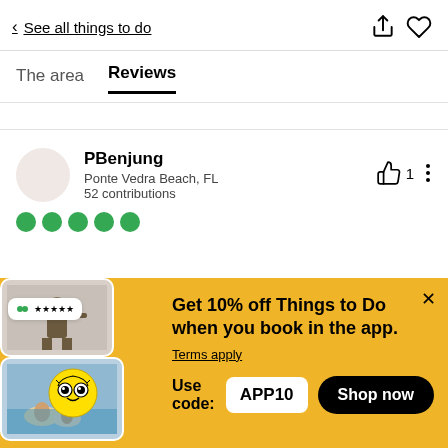< See all things to do
The area
Reviews
PBenjung
Ponte Vedra Beach, FL
52 contributions
[Figure (infographic): Five green filled circles representing a 5-star rating on Tripadvisor]
[Figure (infographic): Promotional banner with yellow background showing 'Get 10% off Things to Do when you book in the app. Terms apply. Use code: APP10' with a Shop now button and decorative app screenshots]